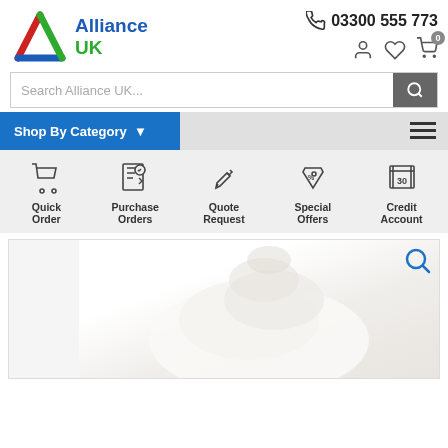[Figure (logo): Alliance UK logo with triangle icon in red, blue, green and text Alliance UK]
03300 555 773
[Figure (screenshot): Search bar with placeholder text 'Search Alliance UK...' and search button]
Shop By Category
[Figure (infographic): Feature strip with 5 icons: Quick Order, Purchase Orders, Quote Request, Special Offers, Credit Account]
[Figure (photo): Product photo showing white fabric/textile items on white background with zoom icon]